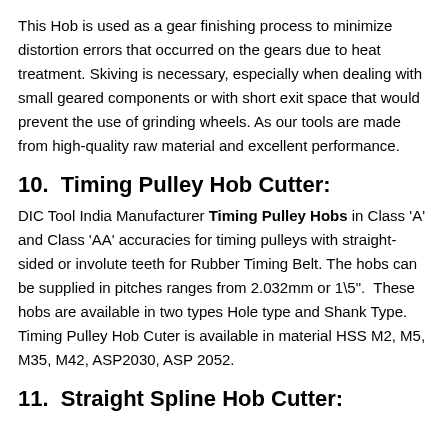This Hob is used as a gear finishing process to minimize distortion errors that occurred on the gears due to heat treatment. Skiving is necessary, especially when dealing with small geared components or with short exit space that would prevent the use of grinding wheels. As our tools are made from high-quality raw material and excellent performance.
10.  Timing Pulley Hob Cutter:
DIC Tool India Manufacturer Timing Pulley Hobs in Class 'A' and Class 'AA' accuracies for timing pulleys with straight-sided or involute teeth for Rubber Timing Belt. The hobs can be supplied in pitches ranges from 2.032mm or 1\5".  These hobs are available in two types Hole type and Shank Type. Timing Pulley Hob Cuter is available in material HSS M2, M5, M35, M42, ASP2030, ASP 2052.
11.  Straight Spline Hob Cutter: